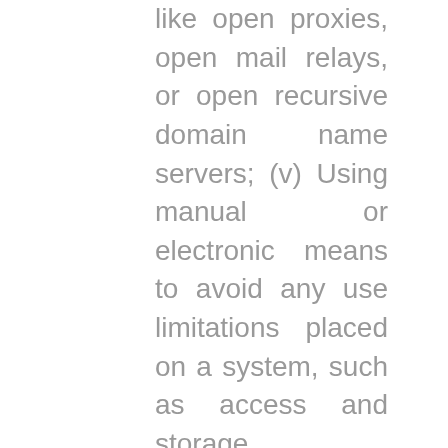like open proxies, open mail relays, or open recursive domain name servers; (v) Using manual or electronic means to avoid any use limitations placed on a system, such as access and storage restrictions; (vi) Attack traffic that disrupts any portion of our network (incoming or outgoing) will be